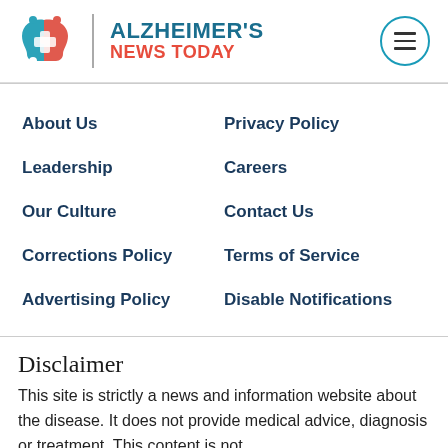[Figure (logo): Alzheimer's News Today logo with stylized brain icon, vertical bar divider, and site name in teal and red]
About Us
Privacy Policy
Leadership
Careers
Our Culture
Contact Us
Corrections Policy
Terms of Service
Advertising Policy
Disable Notifications
Disclaimer
This site is strictly a news and information website about the disease. It does not provide medical advice, diagnosis or treatment. This content is not